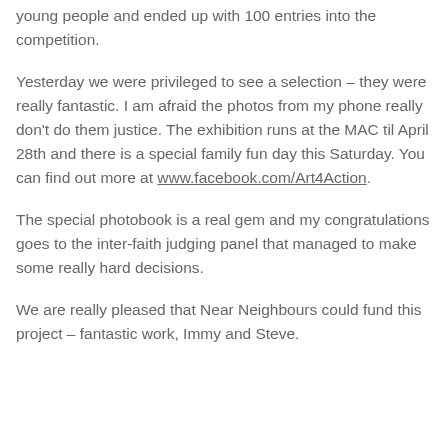young people and ended up with 100 entries into the competition.
Yesterday we were privileged to see a selection – they were really fantastic. I am afraid the photos from my phone really don't do them justice. The exhibition runs at the MAC til April 28th and there is a special family fun day this Saturday. You can find out more at www.facebook.com/Art4Action.
The special photobook is a real gem and my congratulations goes to the inter-faith judging panel that managed to make some really hard decisions.
We are really pleased that Near Neighbours could fund this project – fantastic work, Immy and Steve.